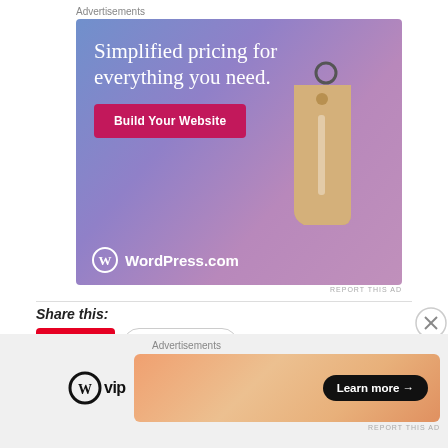Advertisements
[Figure (illustration): WordPress.com advertisement banner with gradient blue-purple background, text 'Simplified pricing for everything you need.', a pink 'Build Your Website' button, a hanging price tag illustration, and WordPress.com logo at bottom left.]
REPORT THIS AD
Share this:
Save
Telegram
Advertisements
[Figure (logo): WordPress VIP logo (WP icon + 'vip' text)]
[Figure (illustration): Bottom advertisement banner with warm orange/peach gradient background and 'Learn more →' dark pill button.]
REPORT THIS AD